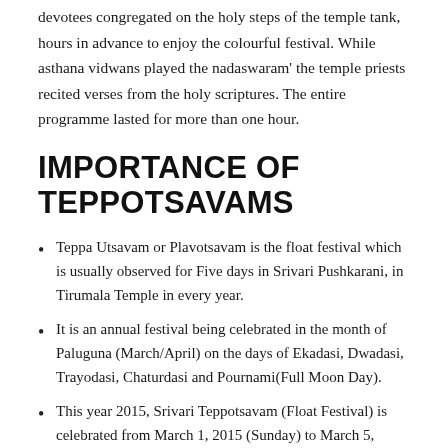devotees congregated on the holy steps of the temple tank, hours in advance to enjoy the colourful festival. While asthana vidwans played the nadaswaram' the temple priests recited verses from the holy scriptures. The entire programme lasted for more than one hour.
IMPORTANCE OF TEPPOTSAVAMS
Teppa Utsavam or Plavotsavam is the float festival which is usually observed for Five days in Srivari Pushkarani, in Tirumala Temple in every year.
It is an annual festival being celebrated in the month of Paluguna (March/April) on the days of Ekadasi, Dwadasi, Trayodasi, Chaturdasi and Pournami(Full Moon Day).
This year 2015, Srivari Teppotsavam (Float Festival) is celebrated from March 1, 2015 (Sunday) to March 5, 2015(Thursday).
The earliest inscription relates to the year 1468 A.D. says that Sriman Maha Mandaleswara Medini Misraganda Kathhari Saluva Narasimha